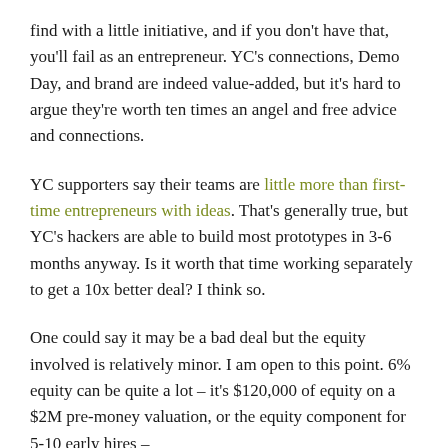find with a little initiative, and if you don't have that, you'll fail as an entrepreneur. YC's connections, Demo Day, and brand are indeed value-added, but it's hard to argue they're worth ten times an angel and free advice and connections.
YC supporters say their teams are little more than first-time entrepreneurs with ideas. That's generally true, but YC's hackers are able to build most prototypes in 3-6 months anyway. Is it worth that time working separately to get a 10x better deal? I think so.
One could say it may be a bad deal but the equity involved is relatively minor. I am open to this point. 6% equity can be quite a lot – it's $120,000 of equity on a $2M pre-money valuation, or the equity component for 5-10 early hires – but I'd agree it's not a massive amount. Spending $150 fo...